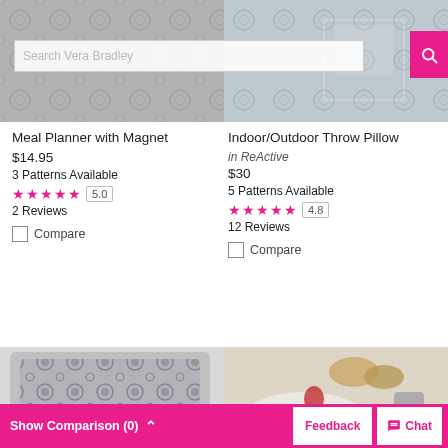[Figure (screenshot): Top image area: left shows meal planner product with floral pattern, right shows indoor/outdoor throw pillow on a chair with search bar overlay]
Meal Planner with Magnet
$14.95
3 Patterns Available
★★★★★ 5.0
2 Reviews
Compare
Indoor/Outdoor Throw Pillow
in ReActive
$30
5 Patterns Available
★★★★★ 4.8
12 Reviews
Compare
[Figure (photo): Bottom left: decorative throw pillow with dark floral pattern on white background]
[Figure (photo): Bottom right: breakfast/brunch tray with croissants, strawberries, and decorative plate]
Show Comparison (0)  Feedback  Chat